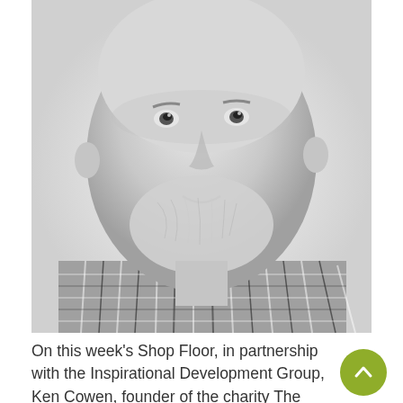[Figure (photo): Black and white close-up portrait photo of a middle-aged man with a short white/grey beard, smiling gently, wearing a black and white checked/gingham shirt. The photo is cropped to show his face and upper chest.]
On this week's Shop Floor, in partnership with the Inspirational Development Group, Ken Cowen, founder of the charity The School of Hard Knocks, explains how